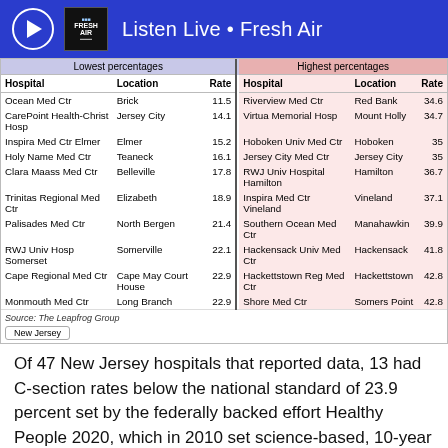Listen Live • Fresh Air
| Hospital | Location | Rate |  | Hospital | Location | Rate |
| --- | --- | --- | --- | --- | --- | --- |
| Ocean Med Ctr | Brick | 11.5 |  | Riverview Med Ctr | Red Bank | 34.6 |
| CarePoint Health-Christ Hosp | Jersey City | 14.1 |  | Virtua Memorial Hosp | Mount Holly | 34.7 |
| Inspira Med Ctr Elmer | Elmer | 15.2 |  | Hoboken Univ Med Ctr | Hoboken | 35 |
| Holy Name Med Ctr | Teaneck | 16.1 |  | Jersey City Med Ctr | Jersey City | 35 |
| Clara Maass Med Ctr | Belleville | 17.8 |  | RWJ Univ Hospital Hamilton | Hamilton | 36.7 |
| Trinitas Regional Med Ctr | Elizabeth | 18.9 |  | Inspira Med Ctr Vineland | Vineland | 37.1 |
| Palisades Med Ctr | North Bergen | 21.4 |  | Southern Ocean Med Ctr | Manahawkin | 39.9 |
| RWJ Univ Hosp Somerset | Somerville | 22.1 |  | Hackensack Univ Med Ctr | Hackensack | 41.8 |
| Cape Regional Med Ctr | Cape May Court House | 22.9 |  | Hackettstown Reg Med Ctr | Hackettstown | 42.8 |
| Monmouth Med Ctr | Long Branch | 22.9 |  | Shore Med Ctr | Somers Point | 42.8 |
Source: The Leapfrog Group
Of 47 New Jersey hospitals that reported data, 13 had C-section rates below the national standard of 23.9 percent set by the federally backed effort Healthy People 2020, which in 2010 set science-based, 10-year national objectives for a variety of health measures. Of New Jersey